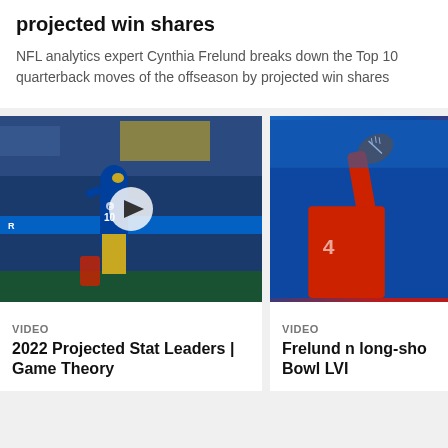projected win shares
NFL analytics expert Cynthia Frelund breaks down the Top 10 quarterback moves of the offseason by projected win shares
[Figure (photo): LA Rams player in blue and yellow uniform running with football during game, crowd visible in background, play button overlay]
VIDEO
2022 Projected Stat Leaders | Game Theory
[Figure (photo): Quarterback in red jersey throwing football, partially cropped]
VIDEO
Frelund n long-sho Bowl LVI